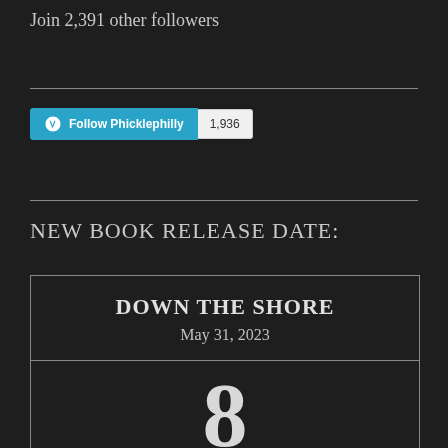Join 2,391 other followers
[Figure (other): WordPress Follow Phicklephilly button with follower count badge showing 1,936]
NEW BOOK RELEASE DATE:
| DOWN THE SHORE | May 31, 2023 |
| 8 |  |